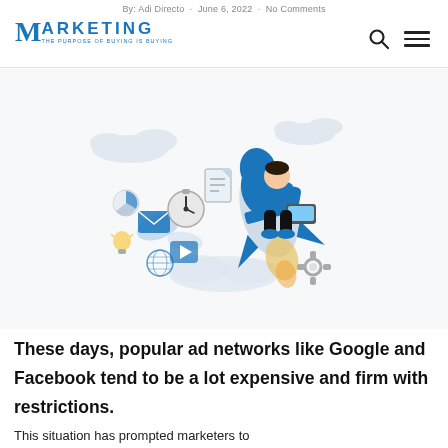By: Adi Directo · June 6, 2022 · No Comments
[Figure (logo): Marketing Insider Group logo with blue M and text]
[Figure (illustration): Illustration of a person sitting on a rocket surrounded by marketing icons including a pie chart, email envelope, stopwatch, documents, lightbulb, globe, and gear on a light blue/white background]
These days, popular ad networks like Google and Facebook tend to be a lot expensive and firm with restrictions. This situation has prompted marketers to